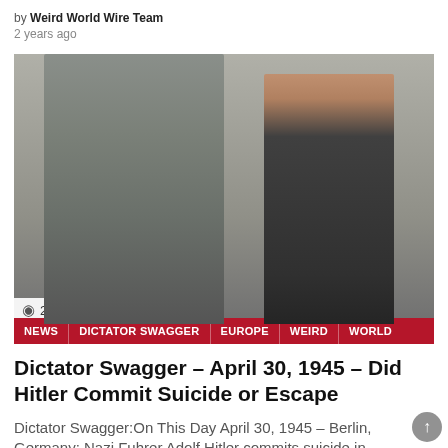by Weird World Wire Team
2 years ago
[Figure (photo): Historical colorized photo of two people walking, man in grey military coat on left, woman in dark jacket on right, blurred crowd in background]
258 Views
NEWS | DICTATOR SWAGGER | EUROPE | WEIRD | WORLD
Dictator Swagger – April 30, 1945 – Did Hitler Commit Suicide or Escape
Dictator Swagger:On This Day April 30, 1945 – Berlin, Germany: Nazi Fuhrer Adolf Hitler commits suicide in